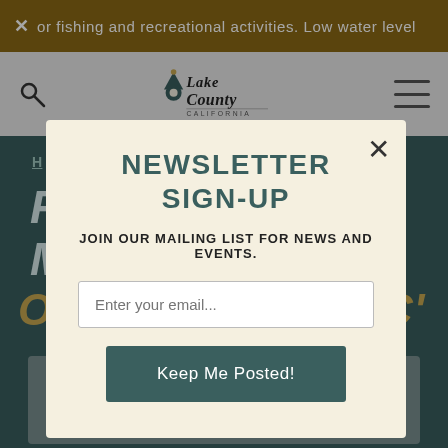or fishing and recreational activities. Low water level
[Figure (logo): Lake County California logo with mountain and location pin icon]
H
OPEN MIC' @MAC'
[Figure (photo): Partial photo visible at bottom of page behind modal]
NEWSLETTER SIGN-UP
JOIN OUR MAILING LIST FOR NEWS AND EVENTS.
Enter your email...
Keep Me Posted!